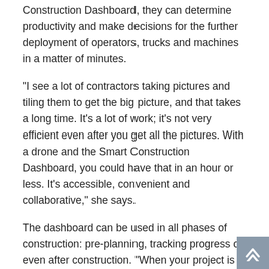Construction Dashboard, they can determine productivity and make decisions for the further deployment of operators, trucks and machines in a matter of minutes.
"I see a lot of contractors taking pictures and tiling them to get the big picture, and that takes a long time. It's a lot of work; it's not very efficient even after you get all the pictures. With a drone and the Smart Construction Dashboard, you could have that in an hour or less. It's accessible, convenient and collaborative," she says.
The dashboard can be used in all phases of construction: pre-planning, tracking progress or even after construction. "When your project is done, you